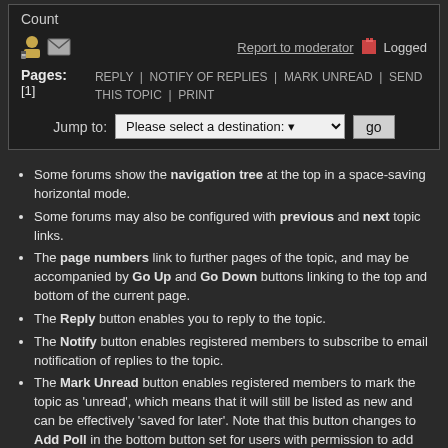Count
[Figure (screenshot): Forum navigation box with user icon, mail icon, Report to moderator link, Logged status, Pages navigation with [1], action links (REPLY | NOTIFY OF REPLIES | MARK UNREAD | SEND THIS TOPIC | PRINT), and a Jump to dropdown with 'Please select a destination:' and go button]
Some forums show the navigation tree at the top in a space-saving horizontal mode.
Some forums may also be configured with previous and next topic links.
The page numbers link to further pages of the topic, and may be accompanied by Go Up and Go Down buttons linking to the top and bottom of the current page.
The Reply button enables you to reply to the topic.
The Notify button enables registered members to subscribe to email notification of replies to the topic.
The Mark Unread button enables registered members to mark the topic as 'unread', which means that it will still be listed as new and can be effectively 'saved for later'. Note that this button changes to Add Poll in the bottom button set for users with permission to add polls to existing topics.
The Send Topic button enables registered members to send a link to the topic by email.
The Print button creates a simplified, printer-friendly rendering of the page.